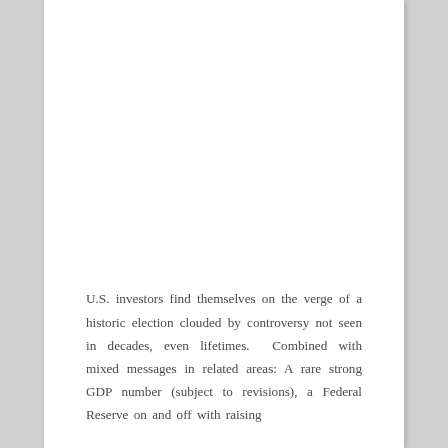U.S. investors find themselves on the verge of a historic election clouded by controversy not seen in decades, even lifetimes.  Combined with mixed messages in related areas: A rare strong GDP number (subject to revisions), a Federal Reserve on and off with raising